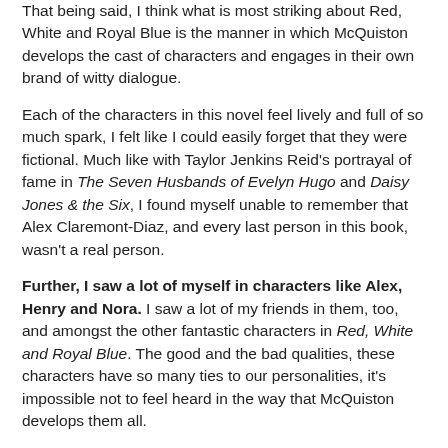That being said, I think what is most striking about Red, White and Royal Blue is the manner in which McQuiston develops the cast of characters and engages in their own brand of witty dialogue.
Each of the characters in this novel feel lively and full of so much spark, I felt like I could easily forget that they were fictional. Much like with Taylor Jenkins Reid's portrayal of fame in The Seven Husbands of Evelyn Hugo and Daisy Jones & the Six, I found myself unable to remember that Alex Claremont-Diaz, and every last person in this book, wasn't a real person.
Further, I saw a lot of myself in characters like Alex, Henry and Nora. I saw a lot of my friends in them, too, and amongst the other fantastic characters in Red, White and Royal Blue. The good and the bad qualities, these characters have so many ties to our personalities, it's impossible not to feel heard in the way that McQuiston develops them all.
There's a lot of representation to be had within this story, too,